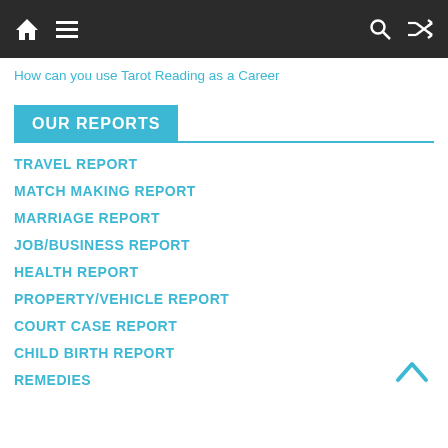Navigation bar with home, menu, search, and shuffle icons
How can you use Tarot Reading as a Career
OUR REPORTS
TRAVEL REPORT
MATCH MAKING REPORT
MARRIAGE REPORT
JOB/BUSINESS REPORT
HEALTH REPORT
PROPERTY/VEHICLE REPORT
COURT CASE REPORT
CHILD BIRTH REPORT
REMEDIES